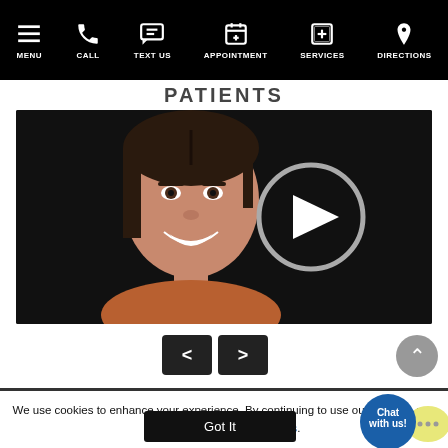MENU | CALL | TEXT US | APPOINTMENT | SERVICES | DIRECTIONS
PATIENTS
[Figure (screenshot): Video thumbnail of a smiling young woman with dark hair against a black background, with a grey play button circle overlay on the right side]
[Figure (screenshot): Navigation arrows (previous < and next >) and a scroll-to-top button]
We use cookies to enhance your experience. By continuing to use our website, you consent to our use of cookies.
[Figure (screenshot): Got It button and Chat with us! bubble in bottom right corner]